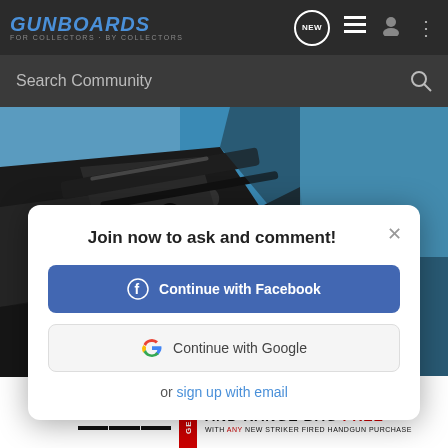GUNBOARDS — FOR COLLECTORS · BY COLLECTORS
Search Community
[Figure (screenshot): Close-up photo of a gun metal part against blue background]
Join now to ask and comment!
Continue with Facebook
Continue with Google
or sign up with email
[Figure (infographic): Springfield Armory advertisement: 3 EXTRA MAGS AND RANGE BAG FREE WITH ANY NEW STRIKER FIRED HANDGUN PURCHASE]